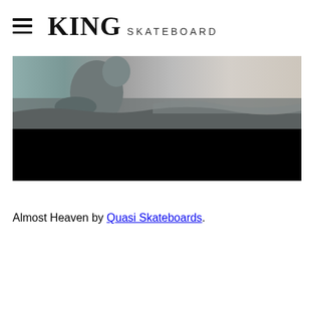KING SKATEBOARD
[Figure (photo): A skateboarder performing a trick, shown in a grainy/blurry video still. The upper portion shows the skater against a muted teal/grey background, while the lower portion of the image is a solid black bar, resembling a video thumbnail.]
Almost Heaven by Quasi Skateboards.